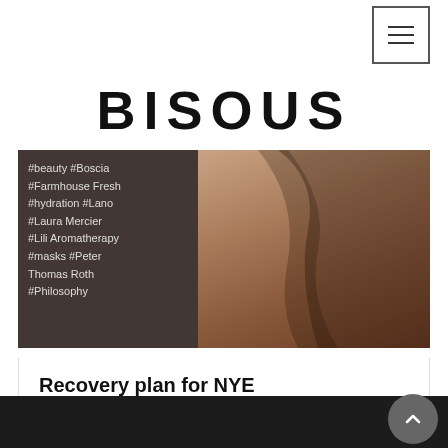BISOUS
[Figure (photo): Photo of a woman with dark flowing hair against a stone/sandy background, with a dark semi-transparent overlay on the left showing hashtag tags: #beauty #Boscia #Farmhouse Fresh #hydration #Lano #Laura Mercier #Lili Aromatherapy #masks #Peter Thomas Roth #Philosophy]
#beauty #Boscia #Farmhouse Fresh #hydration #Lano #Laura Mercier #Lili Aromatherapy #masks #Peter Thomas Roth #Philosophy
Recovery plan for NYE